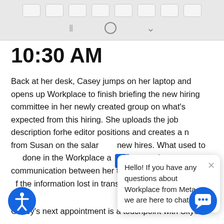[Figure (screenshot): Mobile phone navigation bar with keyboard row and navigation icons (lines, circle, chevron) on gray background]
10:30 AM
Back at her desk, Casey jumps on her laptop and opens up Workplace to finish briefing the new hiring committee in her newly created group on what's expected from this hiring. She uploads the job description for the editor positions and creates a note from Susan on the salary for new hires. What used to done in the Workplace app clear communication between her team members, with the information lost in translation.
[Figure (screenshot): Chat tooltip popup reading: Hello! If you have any questions about Workplace from Meta, we are here to chat. With a close X button.]
Casey's next appointment is a touchpoint with Skye